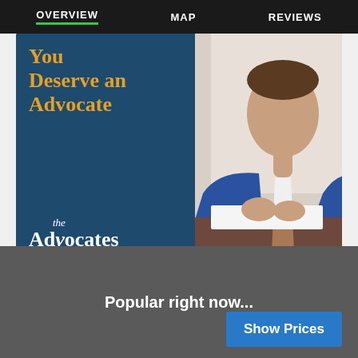OVERVIEW  MAP  REVIEWS
[Figure (illustration): Advertisement banner for The Advocates Injury Attorneys. Left side has dark blue background with orange text 'You Deserve an Advocate' and white logo. Right side shows photo of a man in blue suit at a desk reviewing papers.]
Popular right now...
Show Prices